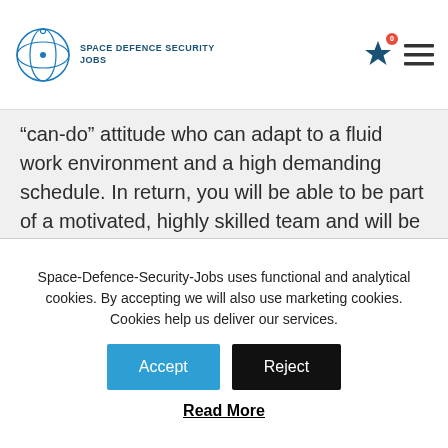SPACE DEFENCE SECURITY JOBS
“can-do” attitude who can adapt to a fluid work environment and a high demanding schedule. In return, you will be able to be part of a motivated, highly skilled team and will be able to contribute to the growth and positive direction of our company.
YOUR RESPONSIBILITIES
Space-Defence-Security-Jobs uses functional and analytical cookies. By accepting we will also use marketing cookies. Cookies help us deliver our services.
Accept  Reject
Read More